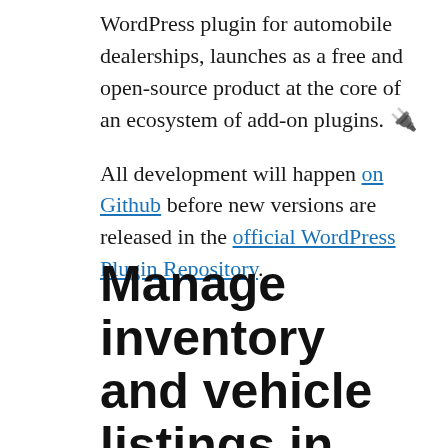WordPress plugin for automobile dealerships, launches as a free and open-source product at the core of an ecosystem of add-on plugins. 🔌
All development will happen on Github before new versions are released in the official WordPress Plugin Repository.
Manage inventory and vehicle listings in WordPress